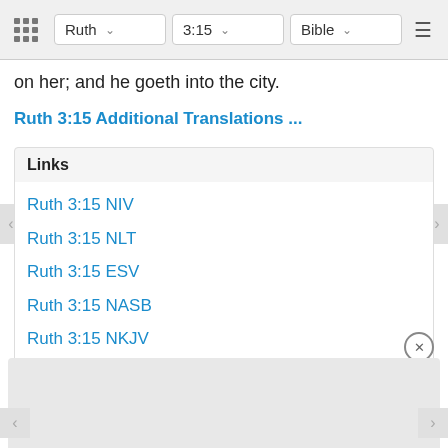Ruth 3:15 Bible
on her; and he goeth into the city.
Ruth 3:15 Additional Translations ...
Ruth 3:15 NIV
Ruth 3:15 NLT
Ruth 3:15 ESV
Ruth 3:15 NASB
Ruth 3:15 NKJV
Ruth 3:15 KJV